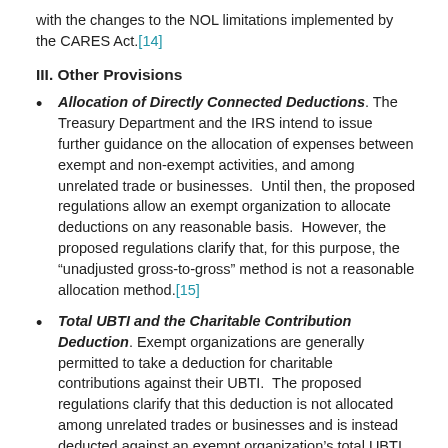with the changes to the NOL limitations implemented by the CARES Act.[14]
III. Other Provisions
Allocation of Directly Connected Deductions. The Treasury Department and the IRS intend to issue further guidance on the allocation of expenses between exempt and non-exempt activities, and among unrelated trade or businesses. Until then, the proposed regulations allow an exempt organization to allocate deductions on any reasonable basis. However, the proposed regulations clarify that, for this purpose, the “unadjusted gross-to-gross” method is not a reasonable allocation method.[15]
Total UBTI and the Charitable Contribution Deduction. Exempt organizations are generally permitted to take a deduction for charitable contributions against their UBTI. The proposed regulations clarify that this deduction is not allocated among unrelated trades or businesses and is instead deducted against an exempt organization’s total UBTI (i.e., after application of section 512(a)(6)). The treatment of excess contribution carryovers, especially if an exempt organization has UBTI from more than one unrelated trade or business,